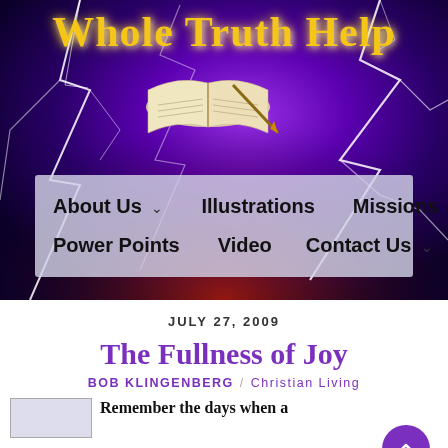[Figure (screenshot): Whole Truth Help website banner: purple/blue lightning storm background with open Bible image and gold serif title 'Whole Truth Help'. Navigation bar below with semi-transparent light background showing menu items: About Us (with dropdown caret), Illustrations, Missions, Power Points, Video, Contact Us (with dropdown caret).]
JULY 27, 2009
The Fullness of Joy
BOB KLINGENBERG / Christian Living
Remember the days when a